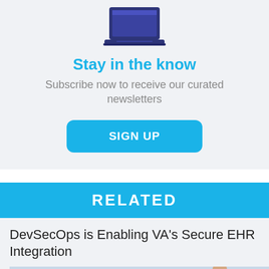[Figure (illustration): Laptop icon illustration in dark navy/purple color on light gray background]
Stay in the know
Subscribe now to receive our curated newsletters
[Figure (other): SIGN UP button - cyan/blue rounded rectangle button]
RELATED
DevSecOps is Enabling VA's Secure EHR Integration
[Figure (photo): Photo of a person in a white lab coat (doctor) with a stethoscope, partially visible at bottom right]